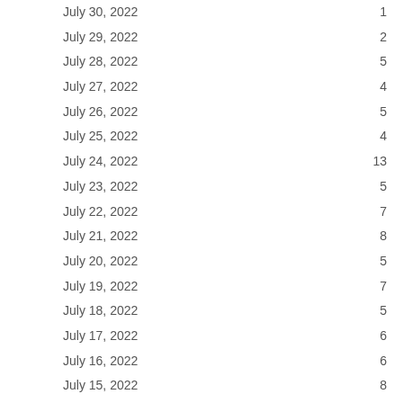| Date | Count |
| --- | --- |
| July 30, 2022 | 1 |
| July 29, 2022 | 2 |
| July 28, 2022 | 5 |
| July 27, 2022 | 4 |
| July 26, 2022 | 5 |
| July 25, 2022 | 4 |
| July 24, 2022 | 13 |
| July 23, 2022 | 5 |
| July 22, 2022 | 7 |
| July 21, 2022 | 8 |
| July 20, 2022 | 5 |
| July 19, 2022 | 7 |
| July 18, 2022 | 5 |
| July 17, 2022 | 6 |
| July 16, 2022 | 6 |
| July 15, 2022 | 8 |
| July 14, 2022 | 4 |
| July 13, 2022 | 6 |
| July 12, 2022 | 1 |
| July 11, 2022 | 10 |
| July 10, 2022 | 6 |
| July 9, 2022 | 8 |
| July 8, 2022 | 6 |
| July 7, 2022 | 5 |